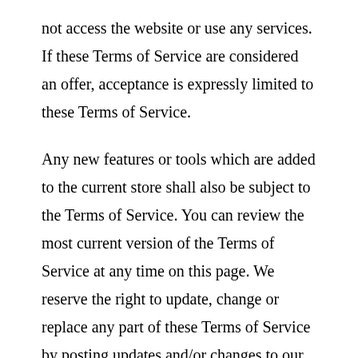not access the website or use any services. If these Terms of Service are considered an offer, acceptance is expressly limited to these Terms of Service.
Any new features or tools which are added to the current store shall also be subject to the Terms of Service. You can review the most current version of the Terms of Service at any time on this page. We reserve the right to update, change or replace any part of these Terms of Service by posting updates and/or changes to our website. It is your responsibility to check this page periodically